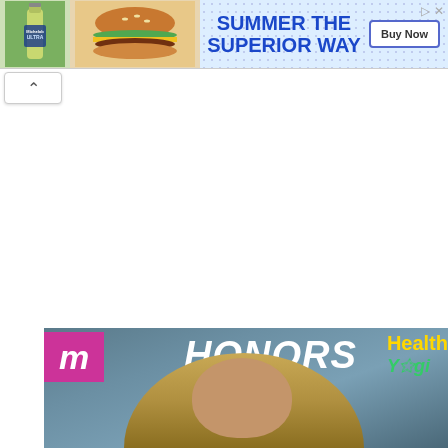[Figure (screenshot): Advertisement banner for Michelob Ultra beer: left side shows beer bottle and burger photos, right side shows text 'SUMMER THE SUPERIOR WAY' in blue bold text with a 'Buy Now' button on dotted background]
[Figure (screenshot): Webpage UI element: a white rounded rectangle with a chevron/up-arrow icon, used as a collapse button]
[Figure (photo): Photo of a smiling woman with long blonde highlighted hair at what appears to be an entertainment honors or awards event. Background shows 'HONORS' text and Health/Yogi branding with a pink M logo box in the upper left corner of the photo.]